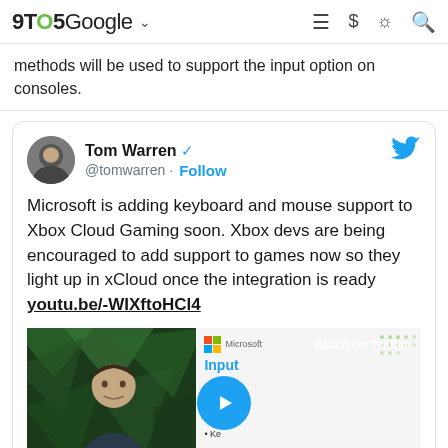9TO5Google
methods will be used to support the input option on consoles.
[Figure (screenshot): Embedded tweet from @tomwarren (Tom Warren, verified) with Twitter bird icon. Tweet text: 'Microsoft is adding keyboard and mouse support to Xbox Cloud Gaming soon. Xbox devs are being encouraged to add support to games now so they light up in xCloud once the integration is ready youtu.be/-WIXftoHCl4'. Below the tweet text is a video thumbnail showing a person on a dark green geometric background on the left, and a Microsoft Input slide (listing Controller, Touch, Keyboard) on the right, with a blue circular play button overlay and 'Watch on Twitter' text.]